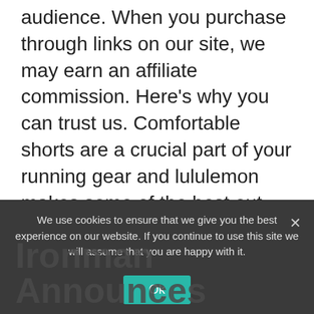audience. When you purchase through links on our site, we may earn an affiliate commission. Here's why you can trust us. Comfortable shorts are a crucial part of your running gear and lululemon makes some of the best out there. From lightweight and moisture-wicking Fabrics to vibrant colors and … Read more
Categories: Marathon
Tags: Lululemon, men, running, Shorts, Women
Leave a comment
We use cookies to ensure that we give you the best experience on our website. If you continue to use this site we will assume that you are happy with it.
Ironman Announces